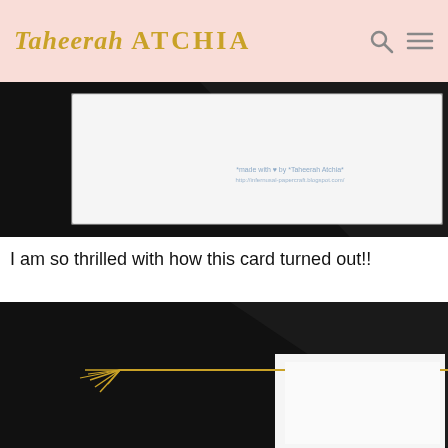Taheerah ATCHIA
[Figure (photo): Close-up photo of a white card on a black background with watermark text 'made with love by Taheerah Atchia' and blog URL]
I am so thrilled with how this card turned out!!
[Figure (photo): Photo of a white card with a gold tassel/string on top, displayed on a black background]